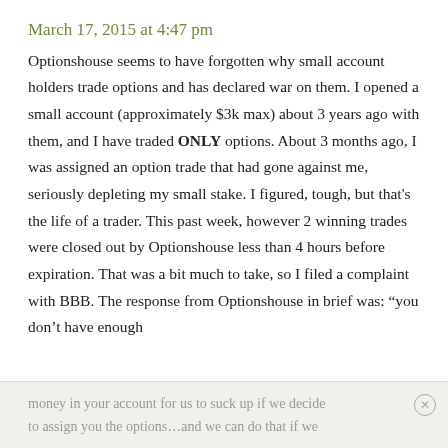March 17, 2015 at 4:47 pm
Optionshouse seems to have forgotten why small account holders trade options and has declared war on them. I opened a small account (approximately $3k max) about 3 years ago with them, and I have traded ONLY options. About 3 months ago, I was assigned an option trade that had gone against me, seriously depleting my small stake. I figured, tough, but that’s the life of a trader. This past week, however 2 winning trades were closed out by Optionshouse less than 4 hours before expiration. That was a bit much to take, so I filed a complaint with BBB. The response from Optionshouse in brief was: “you don’t have enough
money in your account for us to suck up if we decide to assign you the options…and we can do that if we